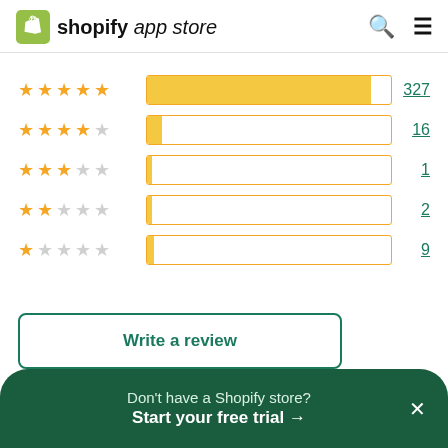shopify app store
[Figure (bar-chart): Star rating distribution]
Write a review
Don't have a Shopify store? Start your free trial →